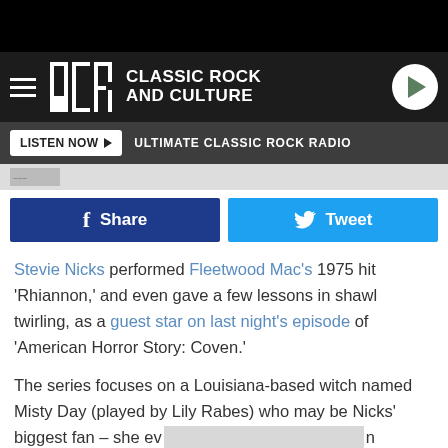UCR Classic Rock and Culture
LISTEN NOW ▶  ULTIMATE CLASSIC ROCK RADIO
f Share   Tweet
Stevie Nicks performed Fleetwood Mac's 1975 hit 'Rhiannon,' and even gave a few lessons in shawl twirling, as a guest star on last night's episode of 'American Horror Story: Coven.'
The series focuses on a Louisiana-based witch named Misty Day (played by Lily Rabes) who may be Nicks' biggest fan – she ev[...] [FX]